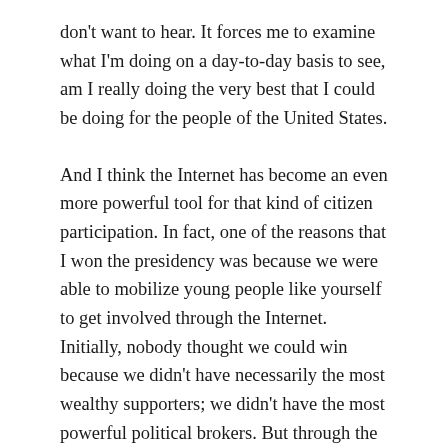don't want to hear. It forces me to examine what I'm doing on a day-to-day basis to see, am I really doing the very best that I could be doing for the people of the United States.
And I think the Internet has become an even more powerful tool for that kind of citizen participation. In fact, one of the reasons that I won the presidency was because we were able to mobilize young people like yourself to get involved through the Internet. Initially, nobody thought we could win because we didn't have necessarily the most wealthy supporters; we didn't have the most powerful political brokers. But through the Internet, people became excited about our campaign